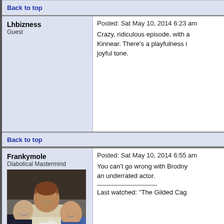Back to top
Lhbizness
Guest
Posted: Sat May 10, 2014 6:23 am
Crazy, ridiculous episode, with a... Kinnear. There's a playfulness i... joyful tone.
Back to top
Frankymole
Diabolical Mastermind
Posted: Sat May 10, 2014 6:55 am
[Figure (photo): Three people posing together: two men in suits flanking a smiling woman in a white lacy outfit holding a white poodle]
You can't go wrong with Brodny... an underrated actor.
Last watched: "The Gilded Cag...